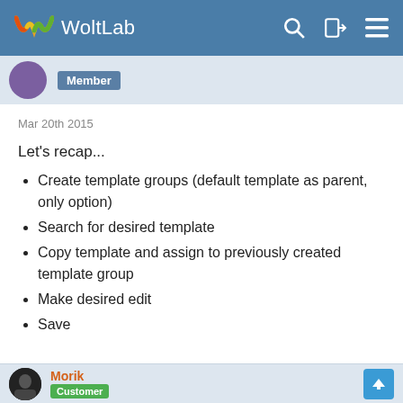WoltLab
Member
Mar 20th 2015
Let's recap...
Create template groups (default template as parent, only option)
Search for desired template
Copy template and assign to previously created template group
Make desired edit
Save
Morik
Customer